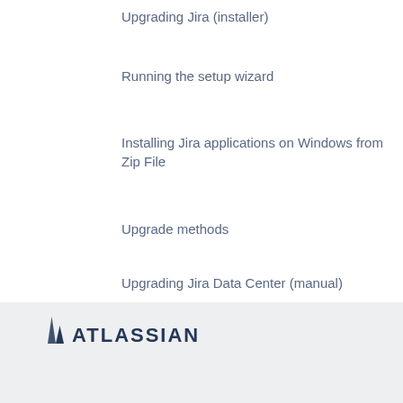Upgrading Jira (installer)
Running the setup wizard
Installing Jira applications on Windows from Zip File
Upgrade methods
Upgrading Jira Data Center (manual)
Running Jira applications as a Windows service
Powered by Confluence and Scroll Viewport.
[Figure (logo): Atlassian logo with triangle icon and ATLASSIAN text]